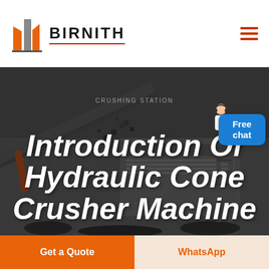[Figure (logo): Birnith company logo: orange and grey building/skyscraper icon with text BIRNITH in bold uppercase letters, red underline, and hamburger menu icon on the right]
[Figure (photo): Hero background photo of a large industrial crushing station machine with conveyor belt, dark industrial setting, machinery processing rocks/ore. Text overlay reads CRUSHING STATION. A customer service avatar (woman in white shirt with headset) appears in upper right with a blue 'Free chat' button.]
Introduction Of Hydraulic Cone Crusher Machine
Get a Quote
WhatsApp